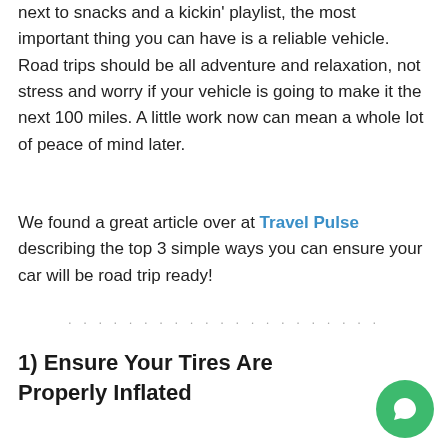next to snacks and a kickin' playlist, the most important thing you can have is a reliable vehicle. Road trips should be all adventure and relaxation, not stress and worry if your vehicle is going to make it the next 100 miles. A little work now can mean a whole lot of peace of mind later.
We found a great article over at Travel Pulse describing the top 3 simple ways you can ensure your car will be road trip ready!
. . . . . . . . . . . . . . . . . . . .
1) Ensure Your Tires Are Properly Inflated